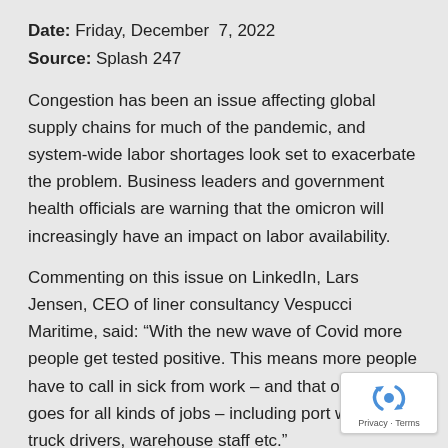Date: Friday, December 7, 2022
Source: Splash 247
Congestion has been an issue affecting global supply chains for much of the pandemic, and system-wide labor shortages look set to exacerbate the problem. Business leaders and government health officials are warning that the omicron will increasingly have an impact on labor availability.
Commenting on this issue on LinkedIn, Lars Jensen, CEO of liner consultancy Vespucci Maritime, said: “With the new wave of Covid more people get tested positive. This means more people have to call in sick from work – and that of course goes for all kinds of jobs – including port workers, truck drivers, warehouse staff etc.”
[Figure (logo): reCAPTCHA badge with recycling-arrow icon and Privacy · Terms text]